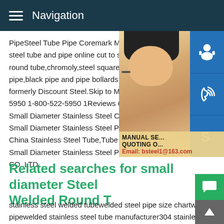Navigation
PipeSteel Tube Pipe Coremark Metals On steel tube and pipe online cut to size.Shop round tube,chromoly,steel square tube,ste pipe,black pipe and pipe bollards cut to size formerly Discount Steel.Skip to Main Cont 5950 1-800-522-5950 1Reviews 67Hight C Small Diameter Stainless Steel China High Small Diameter Stainless Steel Pipe and T China Stainless Steel Tube,Tube from Hig Small Diameter Stainless Steel Pipe and T CO.,LTD.
[Figure (photo): Customer service representative - woman with headset smiling, with blue icon buttons for chat, phone, and Skype on the right side, and a contact overlay showing MANUAL SE... QUOTING O... Email: bsteel1@163.com]
Related searches for small diameter Steel Welded Round T
stainless steel welded tubewelded steel pipe size chartwelded pipewelded stainless steel tube manufacturer304 stainless ste